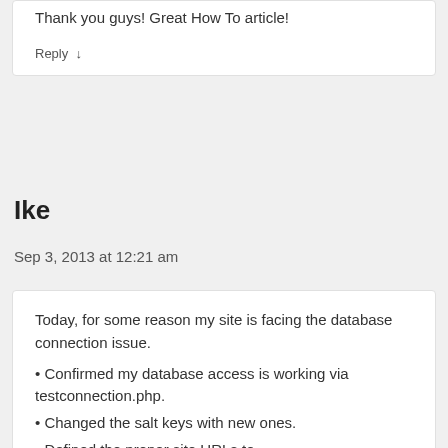Thank you guys! Great How To article!
Reply ↓
Ike
Sep 3, 2013 at 12:21 am
Today, for some reason my site is facing the database connection issue.
• Confirmed my database access is working via testconnection.php.
• Changed the salt keys with new ones.
• Defined the proper site URLs to 'WP_HOME' and 'WP_SITEURL'
• No issue with server slowness as my other